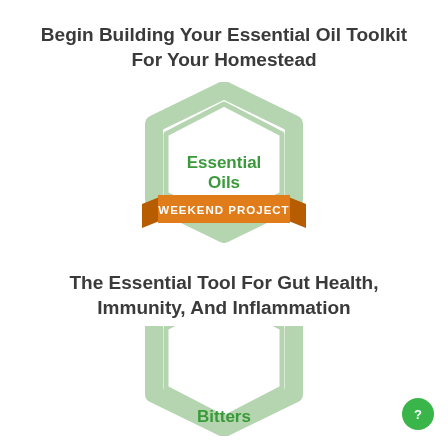Begin Building Your Essential Oil Toolkit For Your Homestead
[Figure (illustration): Hexagonal badge with 'Essential Oils' text in green and an orange ribbon banner reading 'WEEKEND PROJECT']
The Essential Tool For Gut Health, Immunity, And Inflammation
[Figure (illustration): Hexagonal badge partially visible with 'Bitters' text in green]